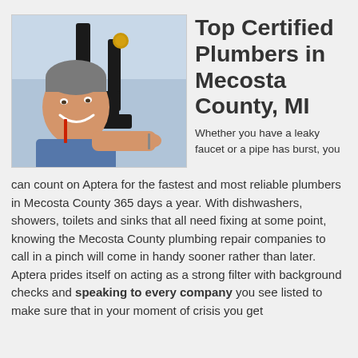[Figure (photo): A middle-aged man with gray hair smiling while working on plumbing pipes under a sink, wearing a blue shirt.]
Top Certified Plumbers in Mecosta County, MI
Whether you have a leaky faucet or a pipe has burst, you can count on Aptera for the fastest and most reliable plumbers in Mecosta County 365 days a year. With dishwashers, showers, toilets and sinks that all need fixing at some point, knowing the Mecosta County plumbing repair companies to call in a pinch will come in handy sooner rather than later. Aptera prides itself on acting as a strong filter with background checks and speaking to every company you see listed to make sure that in your moment of crisis you get